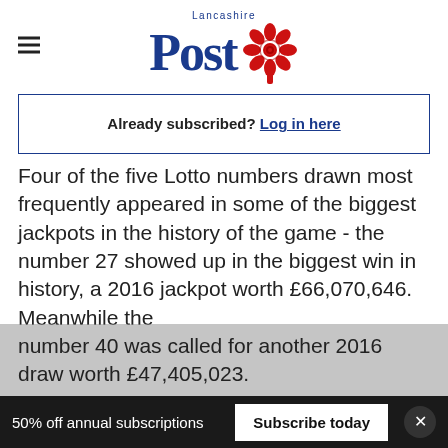Lancashire Post
Already subscribed? Log in here
Four of the five Lotto numbers drawn most frequently appeared in some of the biggest jackpots in the history of the game - the number 27 showed up in the biggest win in history, a 2016 jackpot worth £66,070,646. Meanwhile the number 40 was called for another 2016 draw worth £47,405,023.
50% off annual subscriptions  Subscribe today  ×